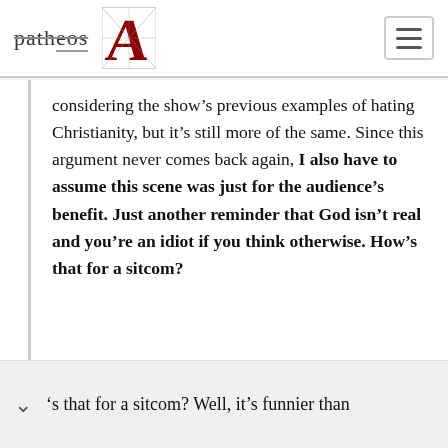patheos [logo] A [hamburger menu]
considering the show’s previous examples of hating Christianity, but it’s still more of the same. Since this argument never comes back again, I also have to assume this scene was just for the audience’s benefit. Just another reminder that God isn’t real and you’re an idiot if you think otherwise. How’s that for a sitcom?
’s that for a sitcom? Well, it’s funnier than